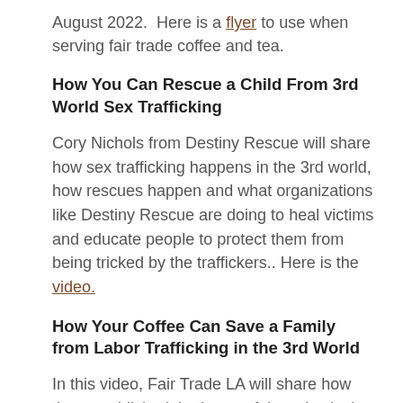August 2022.  Here is a flyer to use when serving fair trade coffee and tea.
How You Can Rescue a Child From 3rd World Sex Trafficking
Cory Nichols from Destiny Rescue will share how sex trafficking happens in the 3rd world, how rescues happen and what organizations like Destiny Rescue are doing to heal victims and educate people to protect them from being tricked by the traffickers.. Here is the video.
How Your Coffee Can Save a Family from Labor Trafficking in the 3rd World
In this video, Fair Trade LA will share how they established the largest fair trade city in the world! Elisha will also share how to create a fair trade